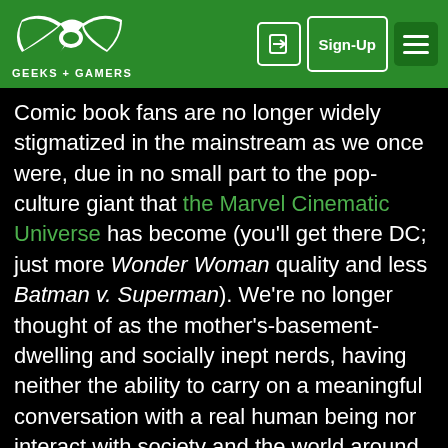GEEKS + GAMERS — Sign-Up navigation header
Comic book fans are no longer widely stigmatized in the mainstream as we once were, due in no small part to the pop-culture giant that the Marvel Cinematic Universe has become (you'll get there DC; just more Wonder Woman quality and less Batman v. Superman). We're no longer thought of as the mother's-basement-dwelling and socially inept nerds, having neither the ability to carry on a meaningful conversation with a real human being nor interact with society and the world around us. Why do comic sales drop when their respective writers go off the rails on us from their high marble pedestals and consequently have to relaunch failing titles